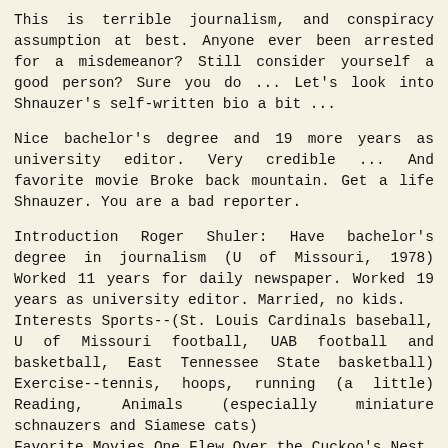This is terrible journalism, and conspiracy assumption at best. Anyone ever been arrested for a misdemeanor? Still consider yourself a good person? Sure you do ... Let's look into Shnauzer's self-written bio a bit ...
Nice bachelor's degree and 19 more years as university editor. Very credible ... And favorite movie Broke back mountain. Get a life Shnauzer. You are a bad reporter.
Introduction Roger Shuler: Have bachelor's degree in journalism (U of Missouri, 1978) Worked 11 years for daily newspaper. Worked 19 years as university editor. Married, no kids.
Interests Sports--(St. Louis Cardinals baseball, U of Missouri football, UAB football and basketball, East Tennessee State basketball) Exercise--tennis, hoops, running (a little) Reading, Animals (especially miniature schnauzers and Siamese cats)
Favorite Movies One Flew Over the Cuckoo's Nest, Saving Private Ryan, Airplane!, Animal House, The Cowboys, Shenandoah, Bridge on the River Kwai, Witness, Raising Arizona, Sixth Sense, Fletch, Vacation, American Beauty,